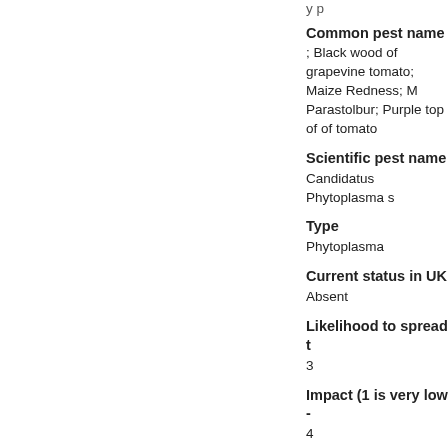Common pest name
; Black wood of grapevine tomato; Maize Redness; M Parastolbur; Purple top of of tomato
Scientific pest name
Candidatus Phytoplasma s
Type
Phytoplasma
Current status in UK
Absent
Likelihood to spread t
3
Impact (1 is very low -
4
General biosecurity co
Phytoplasma which potent feeding behaviour of vecto not specifically regulated i take account of this and o